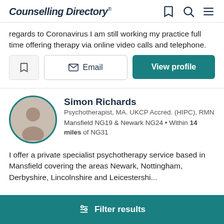Counselling Directory
regards to Coronavirus I am still working my practice full time offering therapy via online video calls and telephone.
[Figure (screenshot): Three action buttons: a bookmark icon button, an Email button, and a View profile button]
Simon Richards
Psychotherapist, MA. UKCP Accred. (HIPC). RMN
Mansfield NG19 & Newark NG24 • Within 14 miles of NG31
I offer a private specialist psychotherapy service based in Mansfield covering the areas Newark, Nottingham, Derbyshire, Lincolnshire and Leicestershi...
Filter results